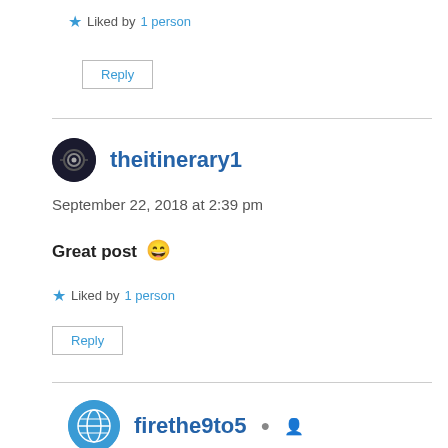★ Liked by 1 person
Reply
theitinerary1
September 22, 2018 at 2:39 pm
Great post 😄
★ Liked by 1 person
Reply
firethe9to5